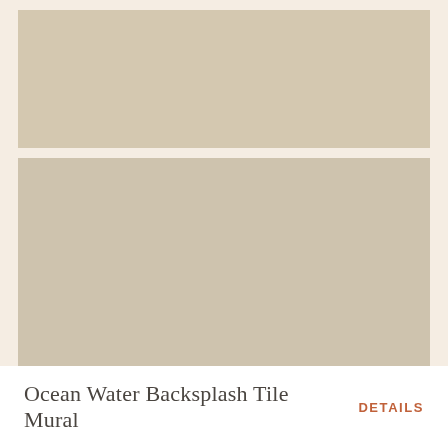[Figure (photo): Three horizontal rectangular tile swatches in warm beige/tan colors arranged vertically with cream grout lines between them, showing an Ocean Water Backsplash Tile Mural product]
Ocean Water Backsplash Tile Mural
DETAILS